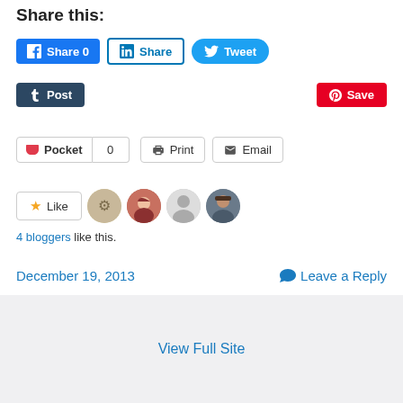Share this:
[Figure (screenshot): Social share buttons: Facebook Share 0, LinkedIn Share, Twitter Tweet]
[Figure (screenshot): Social share buttons: Tumblr Post, Pinterest Save]
[Figure (screenshot): Share buttons: Pocket 0, Print, Email]
[Figure (screenshot): Like button with 4 blogger avatars]
4 bloggers like this.
December 19, 2013    Leave a Reply
View Full Site